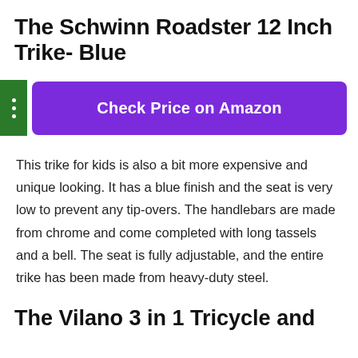The Schwinn Roadster 12 Inch Trike- Blue
Check Price on Amazon
This trike for kids is also a bit more expensive and unique looking. It has a blue finish and the seat is very low to prevent any tip-overs. The handlebars are made from chrome and come completed with long tassels and a bell. The seat is fully adjustable, and the entire trike has been made from heavy-duty steel.
The Vilano 3 in 1 Tricycle and...